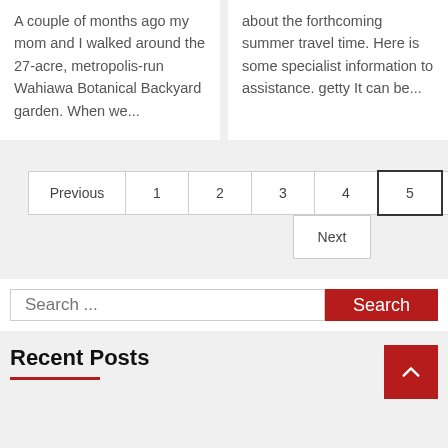A couple of months ago my mom and I walked around the 27-acre, metropolis-run Wahiawa Botanical Backyard garden. When we...
about the forthcoming summer travel time. Here is some specialist information to assistance. getty It can be...
Previous 1 2 3 4 5 6 7 8 ... 13 Next
Search ...
Recent Posts